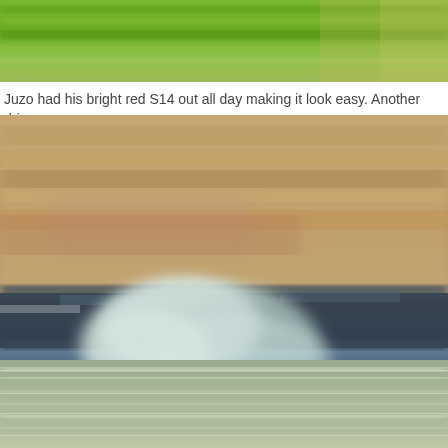[Figure (photo): Blurred motion photo of green fields/grass streaking horizontally, cropped at top of page]
Juzo had his bright red S14 out all day making it look easy. Another drive
[Figure (photo): Blurred motion/panning photo of a car drifting on a track with smoke rising, background shows tan/brown hillside, dark car body visible mid-frame, smoke clouds visible, road surface at bottom with motion blur lines]